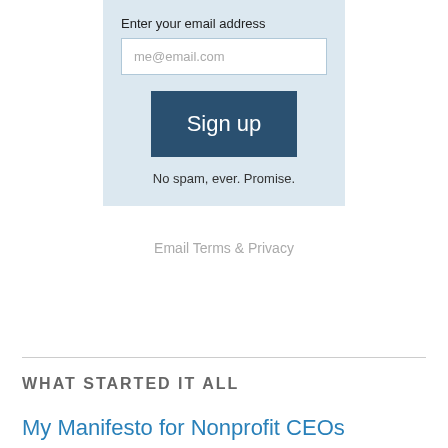Enter your email address
me@email.com
Sign up
No spam, ever. Promise.
Email Terms & Privacy
WHAT STARTED IT ALL
My Manifesto for Nonprofit CEOs